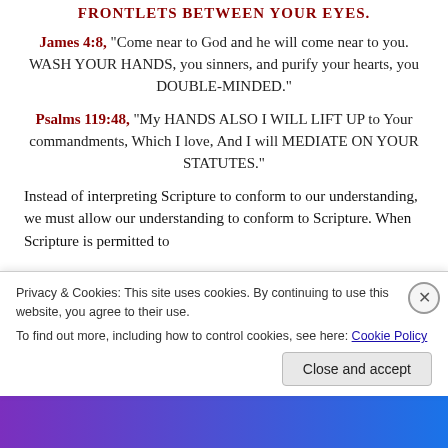FRONTLETS BETWEEN YOUR EYES.
James 4:8, “Come near to God and he will come near to you. WASH YOUR HANDS, you sinners, and purify your hearts, you DOUBLE-MINDED.”
Psalms 119:48, “My HANDS ALSO I WILL LIFT UP to Your commandments, Which I love, And I will MEDIATE ON YOUR STATUTES.”
Instead of interpreting Scripture to conform to our understanding, we must allow our understanding to conform to Scripture. When Scripture is permitted to
Privacy & Cookies: This site uses cookies. By continuing to use this website, you agree to their use.
To find out more, including how to control cookies, see here: Cookie Policy
Close and accept